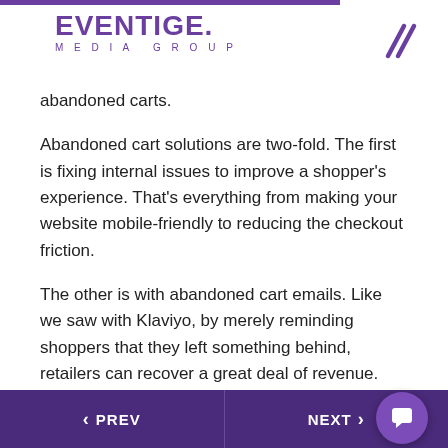EVENTIGE. MEDIA GROUP
abandoned carts.
Abandoned cart solutions are two-fold. The first is fixing internal issues to improve a shopper's experience. That's everything from making your website mobile-friendly to reducing the checkout friction.
The other is with abandoned cart emails. Like we saw with Klaviyo, by merely reminding shoppers that they left something behind, retailers can recover a great deal of revenue. The more you can personalize and segment your messages, the more success you'll
PREV  NEXT